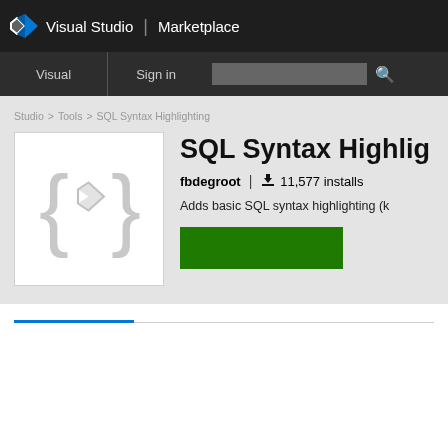Visual Studio | Marketplace
Visual   Sign in
Studio > Tools > SQL Syntax Highlighting
SQL Syntax Highlig
fbdegroot  |  11,577 installs
Adds basic SQL syntax highlighting (k
[Figure (logo): Visual Studio extension placeholder logo showing curly braces and the VS diamond logo icon in light gray on white background]